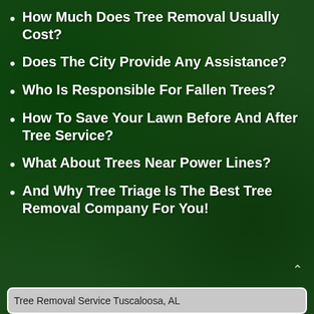How Much Does Tree Removal Usually Cost?
Does The City Provide Any Assistance?
Who Is Responsible For Fallen Trees?
How To Save Your Lawn Before And After Tree Service?
What About Trees Near Power Lines?
And Why Tree Triage Is The Best Tree Removal Company For You!
[Figure (photo): Tree Removal Service Tuscaloosa, AL - image thumbnail at the bottom of the page]